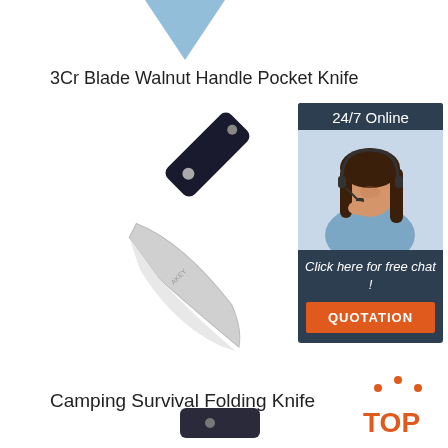[Figure (illustration): Blue arrow pointing down at top of page]
3Cr Blade Walnut Handle Pocket Knife
[Figure (photo): Black folding pocket knife with silver blade open, angled view on white background]
[Figure (infographic): 24/7 Online chat widget with woman wearing headset, 'Click here for free chat!' text and orange QUOTATION button]
Camping Survival Folding Knife
[Figure (illustration): Orange TOP badge/logo with dots above letters]
[Figure (photo): Partial view of another knife at bottom of page]